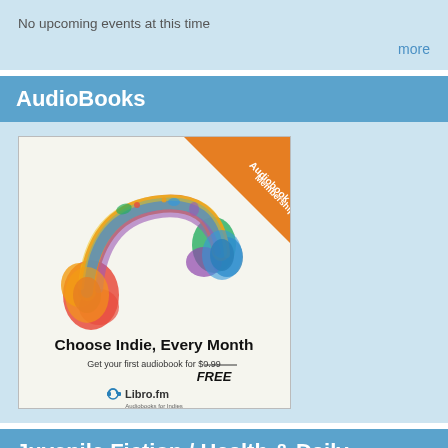No upcoming events at this time
more
AudioBooks
[Figure (illustration): Libro.fm audiobook membership advertisement showing colorful headphones with paint splashes, an orange corner badge reading 'Audiobook Membership', and text 'Choose Indie, Every Month. Get your first audiobook for $0.99 FREE']
Juvenile Fiction / Health & Daily